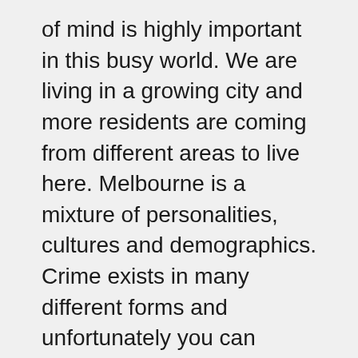of mind is highly important in this busy world. We are living in a growing city and more residents are coming from different areas to live here. Melbourne is a mixture of personalities, cultures and demographics. Crime exists in many different forms and unfortunately you can become a victim of crime if you don't assess the threats that exist in the Lower Plenty area, and take the appropriate precautions to resolve these issues.
We have many products and services to assist you in making the right decisions about your security and also we can assist in installing these or making upgrades as